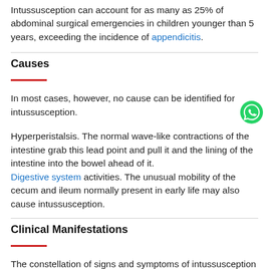Intussusception can account for as many as 25% of abdominal surgical emergencies in children younger than 5 years, exceeding the incidence of appendicitis.
Causes
In most cases, however, no cause can be identified for intussusception.
Hyperperistalsis. The normal wave-like contractions of the intestine grab this lead point and pull it and the lining of the intestine into the bowel ahead of it.
Digestive system activities. The unusual mobility of the cecum and ileum normally present in early life may also cause intussusception.
Clinical Manifestations
The constellation of signs and symptoms of intussusception represents one of the most classic